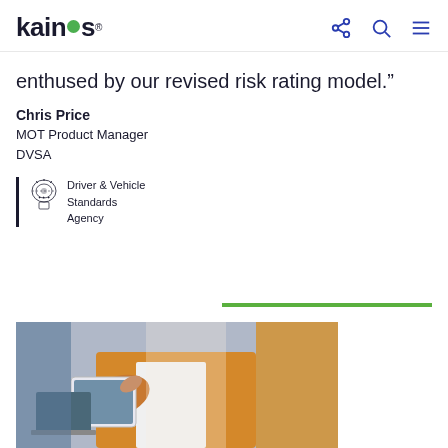kainos® [share] [search] [menu]
enthused by our revised risk rating model.”
Chris Price
MOT Product Manager
DVSA
[Figure (logo): Driver & Vehicle Standards Agency logo with royal crest and vertical bar on left]
[Figure (photo): Person in orange blazer holding a tablet/document, working at a desk with a laptop]